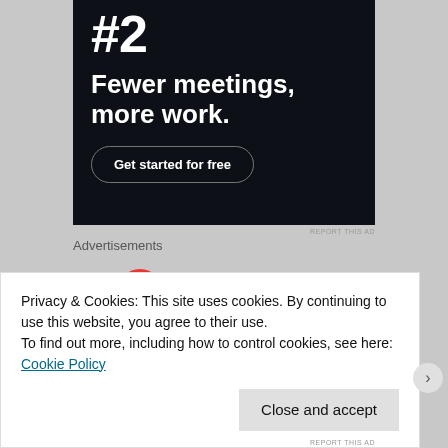[Figure (screenshot): Advertisement banner with dark background showing '#2' at top, bold white text 'Fewer meetings, more work.' and a 'Get started for free' button with rounded border]
REPORT THIS AD
Advertisements
[Figure (logo): Pocket Casts logo: red circular icon with white signal/podcast wave symbol, followed by bold text 'Pocket Casts']
Privacy & Cookies: This site uses cookies. By continuing to use this website, you agree to their use.
To find out more, including how to control cookies, see here: Cookie Policy
Close and accept